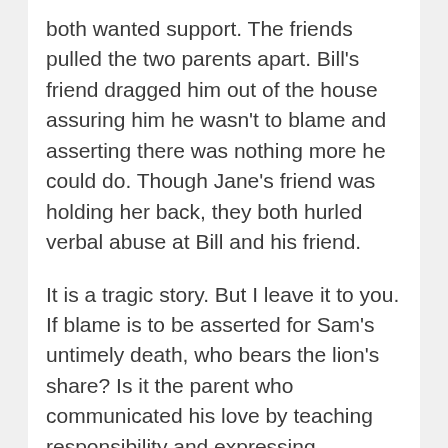both wanted support. The friends pulled the two parents apart. Bill's friend dragged him out of the house assuring him he wasn't to blame and asserting there was nothing more he could do. Though Jane's friend was holding her back, they both hurled verbal abuse at Bill and his friend.
It is a tragic story. But I leave it to you. If blame is to be asserted for Sam's untimely death, who bears the lion's share? Is it the parent who communicated his love by teaching responsibility and expressing boundaries and who tried to keep him from that party or by the parent whose love fed